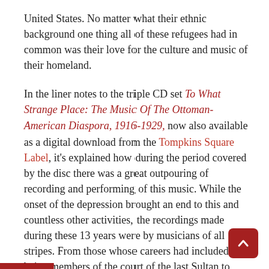United States. No matter what their ethnic background one thing all of these refugees had in common was their love for the culture and music of their homeland.
In the liner notes to the triple CD set To What Strange Place: The Music Of The Ottoman-American Diaspora, 1916-1929, now also available as a digital download from the Tompkins Square Label, it's explained how during the period covered by the disc there was a great outpouring of recording and performing of this music. While the onset of the depression brought an end to this and countless other activities, the recordings made during these 13 years were by musicians of all stripes. From those whose careers had included being members of the court of the last Sultan to performers of Jewish, Greek, and Armenian folk music.
Instead of dividing the three discs up by ethnicity, the compilers of this collection have found a much more interesting and novel approach. Each of the discs contains music fitting a specific theme that the producers have identified as the three major reasons for the music's creation in the first place. So disc one is subtitled "Naughty